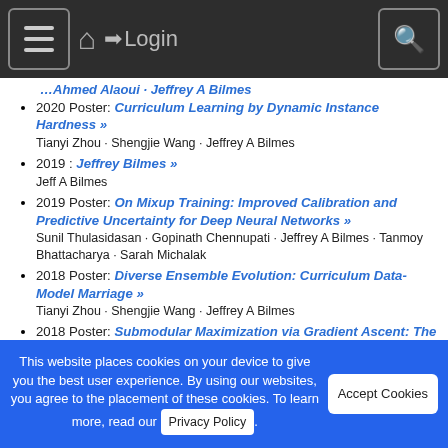Navigation bar with menu, home, login, and search
2020 Poster: Curriculum Learning by Dynamic Instance Hardness »
Tianyi Zhou · Shengjie Wang · Jeffrey A Bilmes
2019 : Jeffrey Bilmes »
Jeff A Bilmes
2019 Poster: On Mixup Training: Improved Calibration and Predictive Uncertainty for Deep Neural Networks »
Sunil Thulasidasan · Gopinath Chennupati · Jeffrey A Bilmes · Tanmoy Bhattacharya · Sarah Michalak
2018 Poster: Diverse Ensemble Evolution: Curriculum Data-Model Marriage »
Tianyi Zhou · Shengjie Wang · Jeffrey A Bilmes
2018 Poster: Submodular Maximization via Gradient Ascent: The Case of Deep Submodular Functions »
This website places cookies on your device to give you the best user experience. By using our websites, you agree to the placement of these cookies. To learn more, read our Privacy Policy.